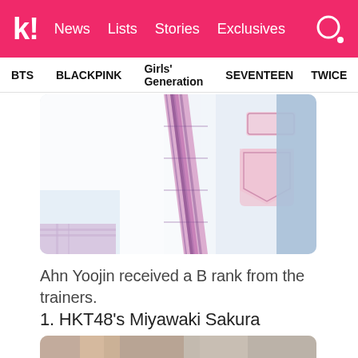k! News  Lists  Stories  Exclusives
BTS  BLACKPINK  Girls' Generation  SEVENTEEN  TWICE
[Figure (photo): Close-up photo of a person wearing a white school uniform shirt with a pink/purple plaid tie and school badge patches on the right side.]
Ahn Yoojin received a B rank from the trainers.
1. HKT48's Miyawaki Sakura
[Figure (photo): Partial photo of a person with light colored hair, cropped at the bottom of the page.]